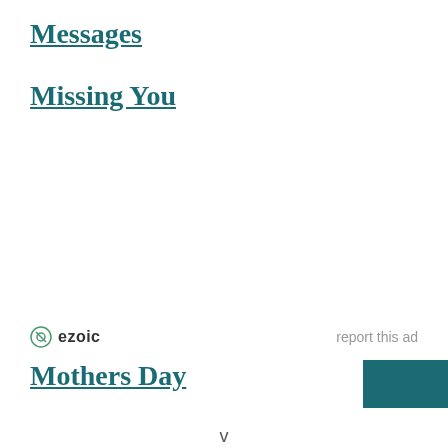Messages
Missing You
[Figure (logo): Ezoic logo with circular badge icon and 'ezoic' text in bold, alongside 'report this ad' link]
Mothers Day
[Figure (other): Teal/dark blue rectangular button with a small white triangle/chevron pointing down]
v